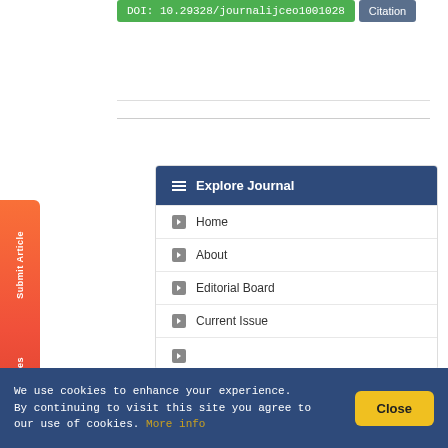DOI: 10.29328/journalijceo1001028
Citation
Home
About
Editorial Board
Current Issue
Explore Journal
We use cookies to enhance your experience. By continuing to visit this site you agree to our use of cookies. More info
Close